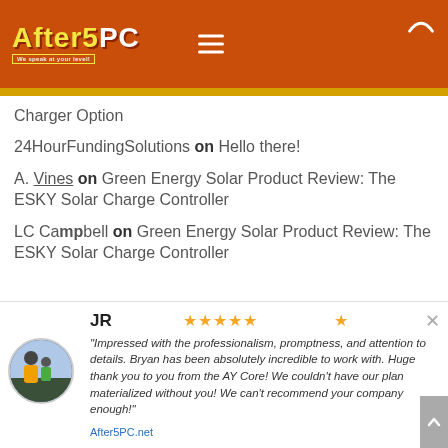[Figure (logo): After5PC logo in yellow and white text on orange-red background header with hamburger menu icon]
Charger Option
24HourFundingSolutions on Hello there!
A. Vines on Green Energy Solar Product Review: The ESKY Solar Charge Controller
LC Campbell on Green Energy Solar Product Review: The ESKY Solar Charge Controller
JR ★★★★★ "Impressed with the professionalism, promptness, and attention to details. Bryan has been absolutely incredible to work with. Huge thank you to you from the AY Core! We couldn't have our plan materialized without you! We can't recommend your company enough!" After5PC.net